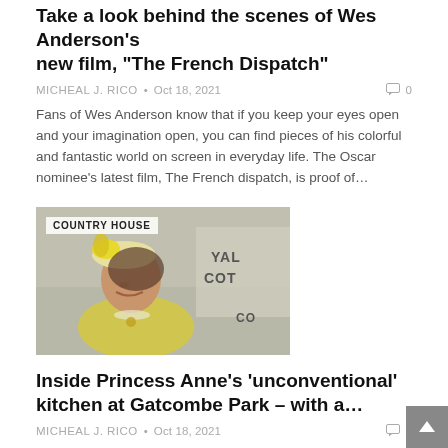Take a look behind the scenes of Wes Anderson's new film, “The French Dispatch”
MICHEAL J. RICO • Oct 18, 2021  ☐ 0
Fans of Wes Anderson know that if you keep your eyes open and your imagination open, you can find pieces of his colorful and fantastic world on screen in everyday life. The Oscar nominee’s latest film, The French dispatch, is proof of…
[Figure (photo): Woman in yellow jacket and floral hat smiling, with Royal Ascot signage in background. Label overlay: COUNTRY HOUSE]
Inside Princess Anne’s ‘unconventional’ kitchen at Gatcombe Park – with a…
MICHEAL J. RICO • Oct 18, 2021  ☐ 0
October 18, 2021 - 12:08 PM BST Sophie hamilton Princess Anne’s country kitchen at Gatcombe Park…